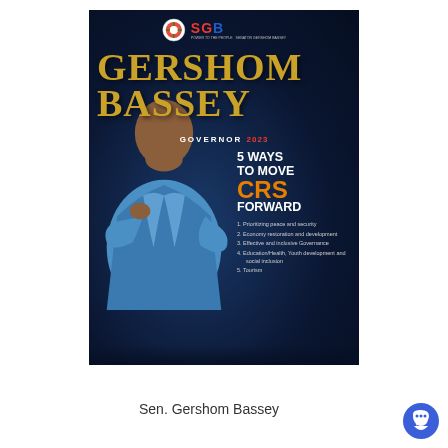[Figure (illustration): Campaign poster for Sen. Gershom Bassey, gubernatorial candidate. Dark blue background with man in reflective blue jacket in a thinking pose. Gold text reads GERSHOM BASSEY, GOVERNOR 2023. Right side lists '5 WAYS TO MOVE CRS FORWARD' with orange CRS text and 5 bullet points listing priorities.]
Sen. Gershom Bassey